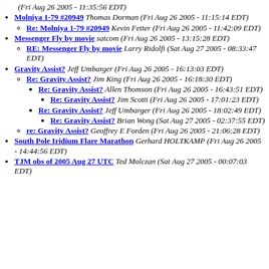(Fri Aug 26 2005 - 11:35:56 EDT)
Molniya 1-79 #20949 Thomas Dorman (Fri Aug 26 2005 - 11:15:14 EDT)
Re: Molniya 1-79 #20949 Kevin Fetter (Fri Aug 26 2005 - 11:42:09 EDT)
Messenger Fly by movie satcom (Fri Aug 26 2005 - 13:15:28 EDT)
RE: Messenger Fly by movie Larry Ridolfi (Sat Aug 27 2005 - 08:33:47 EDT)
Gravity Assist? Jeff Umbarger (Fri Aug 26 2005 - 16:13:03 EDT)
Re: Gravity Assist? Jim King (Fri Aug 26 2005 - 16:18:30 EDT)
Re: Gravity Assist? Allen Thomson (Fri Aug 26 2005 - 16:43:51 EDT)
Re: Gravity Assist? Jim Scotti (Fri Aug 26 2005 - 17:01:23 EDT)
Re: Gravity Assist? Jeff Umbarger (Fri Aug 26 2005 - 18:02:49 EDT)
Re: Gravity Assist? Brian Wong (Sat Aug 27 2005 - 02:37:55 EDT)
re: Gravity Assist? Geoffrey E Forden (Fri Aug 26 2005 - 21:06:28 EDT)
South Pole Iridium Flare Marathon Gerhard HOLTKAMP (Fri Aug 26 2005 - 14:44:56 EDT)
TJM obs of 2005 Aug 27 UTC Ted Molczan (Sat Aug 27 2005 - 00:07:03 EDT)